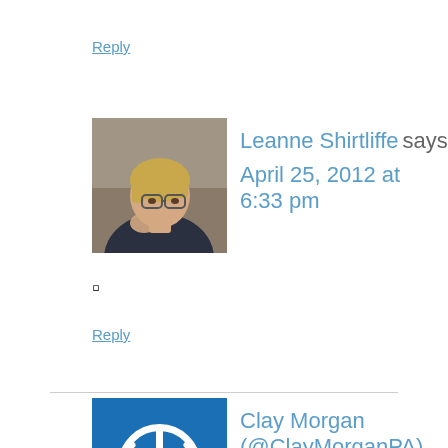Reply
[Figure (photo): Avatar photo of Leanne Shirtliffe, a woman with short blonde hair and glasses]
Leanne Shirtliffe says April 25, 2012 at 6:33 pm
▏
Reply
[Figure (logo): Blue square icon with white power/circle symbol for Clay Morgan]
Clay Morgan (@ClayMorganPA) says April 25, 2012 at 9:31 am